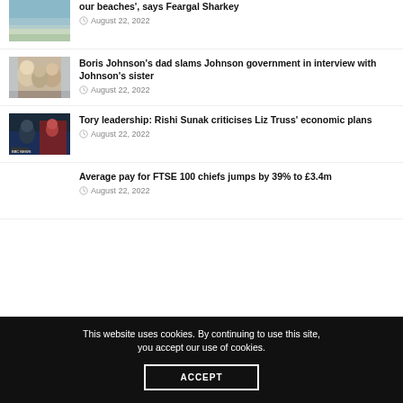our beaches', says Feargal Sharkey — August 22, 2022
Boris Johnson's dad slams Johnson government in interview with Johnson's sister — August 22, 2022
Tory leadership: Rishi Sunak criticises Liz Truss' economic plans — August 22, 2022
Average pay for FTSE 100 chiefs jumps by 39% to £3.4m — August 22, 2022
This website uses cookies. By continuing to use this site, you accept our use of cookies.
ACCEPT